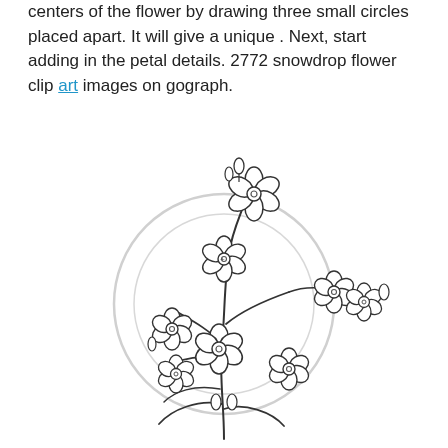centers of the flower by drawing three small circles placed apart. It will give a unique . Next, start adding in the petal details. 2772 snowdrop flower clip art images on gograph.
[Figure (illustration): A line-art illustration of a snowdrop flower bouquet with multiple flowers showing petals, stems, leaves, and circular centers, with a faint watermark circle in the background.]